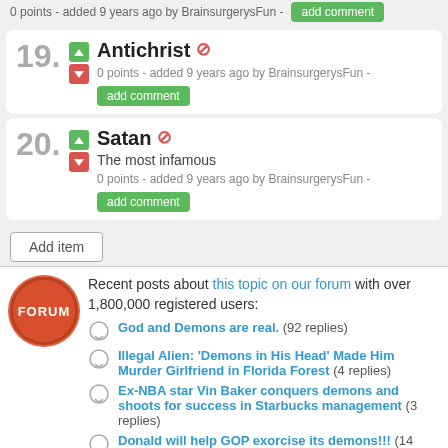0 points - added 9 years ago by BrainsurgerysFun -
19. Antichrist
0 points - added 9 years ago by BrainsurgerysFun -
20. Satan
The most infamous
0 points - added 9 years ago by BrainsurgerysFun -
Add item
Recent posts about this topic on our forum with over 1,800,000 registered users:
God and Demons are real.  (92 replies)
Illegal Alien: 'Demons in His Head' Made Him Murder Girlfriend in Florida Forest  (4 replies)
Ex-NBA star Vin Baker conquers demons and shoots for success in Starbucks management  (3 replies)
Donald will help GOP exorcise its demons!!!  (14 replies)
Spirits demons and astral shells  (2 replies)
'Demons have been unleashed in Europe' and it needs the US to survive, warns Merkel ally  (8 replies)